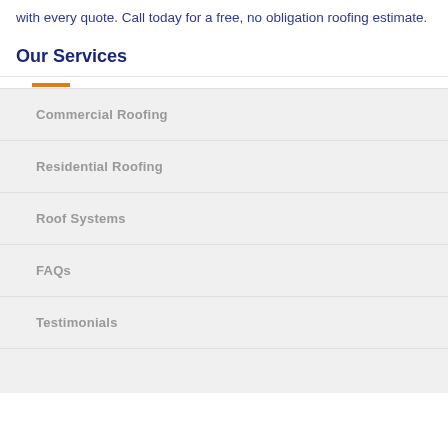with every quote. Call today for a free, no obligation roofing estimate.
Our Services
Commercial Roofing
Residential Roofing
Roof Systems
FAQs
Testimonials